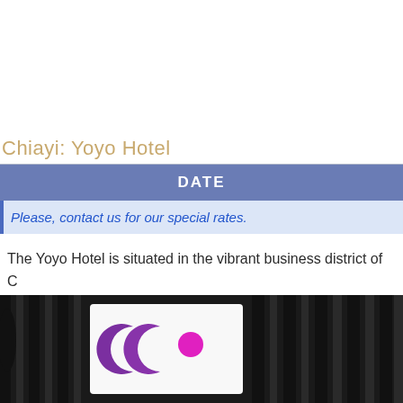Chiayi: Yoyo Hotel
| DATE |
| --- |
| Please, contact us for our special rates. |
The Yoyo Hotel is situated in the vibrant business district of C... built sky-scraping Yoyo Hotel, which provides the warmest reso... offering superb retreat to...
[Figure (photo): Hotel exterior photo showing dark striped building facade with Yoyo Hotel logo (two crescents and a circle in purple and pink)]